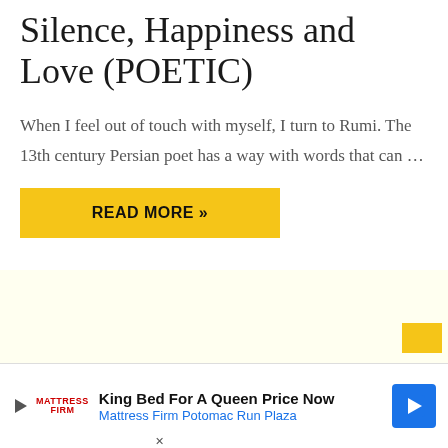Silence, Happiness and Love (POETIC)
When I feel out of touch with myself, I turn to Rumi. The 13th century Persian poet has a way with words that can …
READ MORE »
[Figure (other): Yellow/cream background advertisement section]
[Figure (other): Advertisement banner: King Bed For A Queen Price Now - Mattress Firm Potomac Run Plaza]